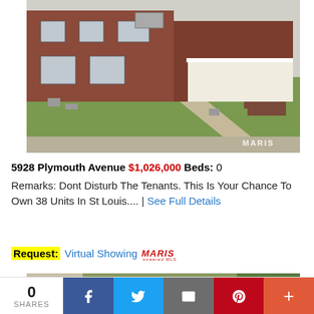[Figure (photo): Exterior photo of a brick residential building at 5928 Plymouth Avenue. Shows the front facade with a green lawn, concrete sidewalk, white porch railing, and steps. A watermark reading 'MARIS' is visible in the lower right corner.]
5928 Plymouth Avenue $1,026,000 Beds: 0
Remarks: Dont Disturb The Tenants. This Is Your Chance To Own 38 Units In St Louis.... | See Full Details
Request: Virtual Showing MARIS
[Figure (photo): Partial view of another property exterior photo, cropped at the bottom of the page.]
0 SHARES